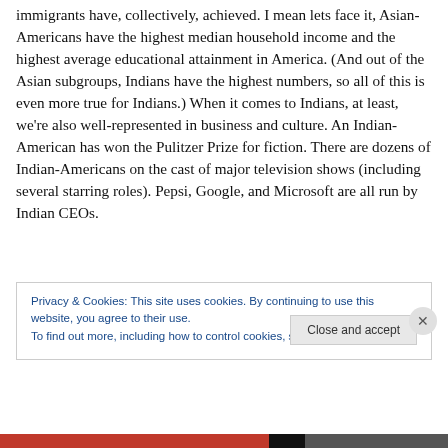immigrants have, collectively, achieved. I mean lets face it, Asian-Americans have the highest median household income and the highest average educational attainment in America. (And out of the Asian subgroups, Indians have the highest numbers, so all of this is even more true for Indians.) When it comes to Indians, at least, we're also well-represented in business and culture. An Indian-American has won the Pulitzer Prize for fiction. There are dozens of Indian-Americans on the cast of major television shows (including several starring roles). Pepsi, Google, and Microsoft are all run by Indian CEOs.
Privacy & Cookies: This site uses cookies. By continuing to use this website, you agree to their use. To find out more, including how to control cookies, see here: Cookie Policy